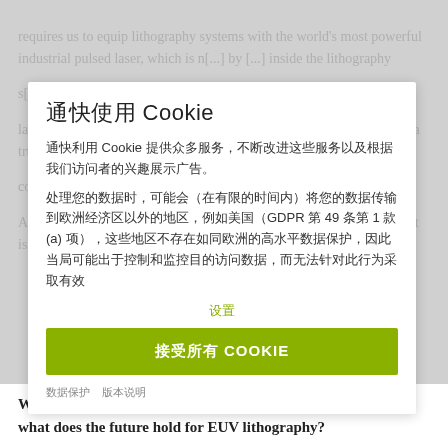requires us to equip lithography systems with the world's most powerful industrial pulsed laser, which is [partially obscured] inside the lithography [partially obscured] separator [partially obscured] 59 [partially obscured] drive [partially obscured] black twice by the laser [partially obscured] into [partially obscured] in [partially obscured] such a feat, and it involves technology on a truly gigantic scale [partially obscured] consists of almost half a million individual components. And at 220,000 degrees Celsius, the plasma used to generate EUV light is almost 40 times hotter than the surface of the sun.
通快使用 Cookie
通快利用 Cookie 提供众多服务，不断改进这些服务以及根据我们访问者的兴趣展示广告。
处理您的数据时，可能会（在有限的时间内）将您的数据传输到欧洲经济区以外的地区，例如美国（GDPR 第 49 条第 1 款 (a) 项），这些地区不存在如同欧洲的高水平数据保护，因此当局可能出于控制和监控目的访问数据，而无法针对此行为采取有效
设置
接受所有 COOKIE
数据保护   版本说明
What makes your achievements stand out? And what does the future hold for EUV lithography?